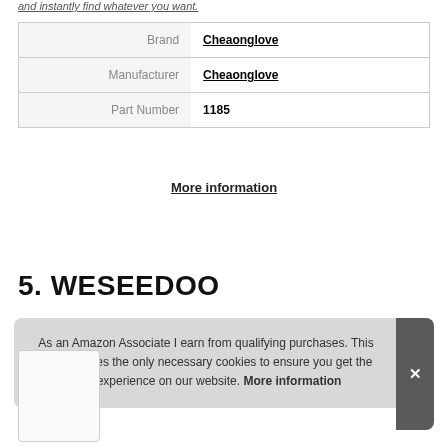and instantly find whatever you want.
| Brand | Cheaonglove |
| Manufacturer | Cheaonglove |
| Part Number | 1185 |
More information
5. WESEEDOO
As an Amazon Associate I earn from qualifying purchases. This website uses the only necessary cookies to ensure you get the best experience on our website. More information